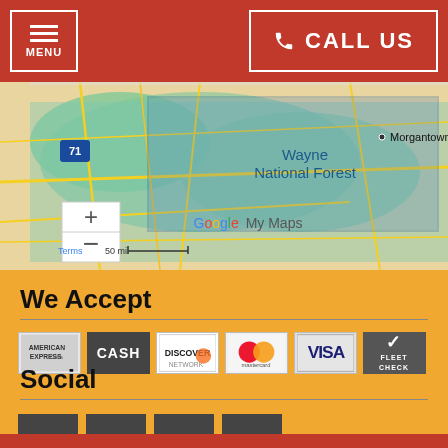[Figure (screenshot): Navigation header with hamburger menu button on left and CALL US button on right, red background]
[Figure (map): Google My Maps showing Wayne National Forest area with Morgantown visible, zoom controls, scale bar showing 50 mi]
We Accept
[Figure (infographic): Payment method logos: American Express Cards, Cash, Discover Network, Mastercard, Visa, Fleet Check]
Social
[Figure (infographic): Social media icons: Google (G), Facebook (f), Yelp (star), YP (yp)]